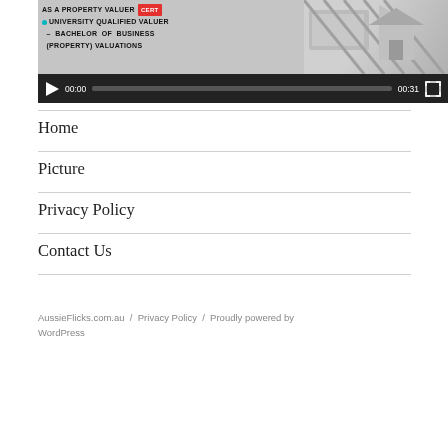[Figure (screenshot): Video thumbnail showing text about property valuer and university qualified valuer Bachelor of Business (Property) Valuations, with money image on right, and video controls showing 00:00 / 00:31 with play button and progress bar.]
Home
Picture
Privacy Policy
Contact Us
AussieFlicks.com.au / Privacy Policy / Proudly powered by WordPress